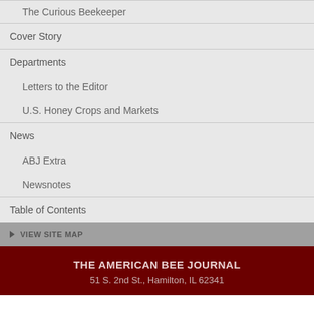The Curious Beekeeper
Cover Story
Departments
Letters to the Editor
U.S. Honey Crops and Markets
News
ABJ Extra
Newsnotes
Table of Contents
VIEW SITE MAP
THE AMERICAN BEE JOURNAL
51 S. 2nd St., Hamilton, IL 62341